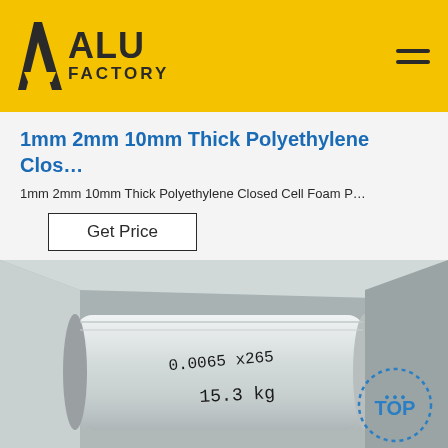ALU FACTORY
1mm 2mm 10mm Thick Polyethylene Clos…
1mm 2mm 10mm Thick Polyethylene Closed Cell Foam P…
Get Price
[Figure (photo): Photo of a metallic foil roll in a box with handwritten label '0.0065 x 265' and '15.3 kg', with a 'TOP' badge in the bottom right corner.]